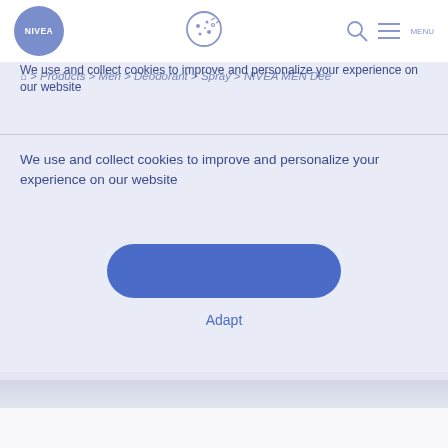[Figure (logo): NIVEA circular blue logo in the top-left header area]
[Figure (illustration): Cookie icon (circular cookie with dots) centered in the navigation header]
[Figure (illustration): Search (magnifying glass) and menu (hamburger) icons in top-right header]
We use and collect cookies to improve and personalize your experience on our website
We use and collect cookies to improve and personalize your experience on our website
Adapt
Products > Men > Deodorant > Spray > NIVEA MEN Dee